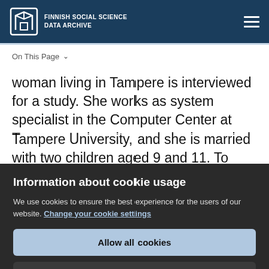Finnish Social Science Data Archive
On This Page
woman living in Tampere is interviewed for a study. She works as system specialist in the Computer Center at Tampere University, and she is married with two children aged 9 and 11. To reduce the risk of identification, her background information could then
Information about cookie usage
We use cookies to ensure the best experience for the users of our website. Change your cookie settings
Allow all cookies
Refuse cookies